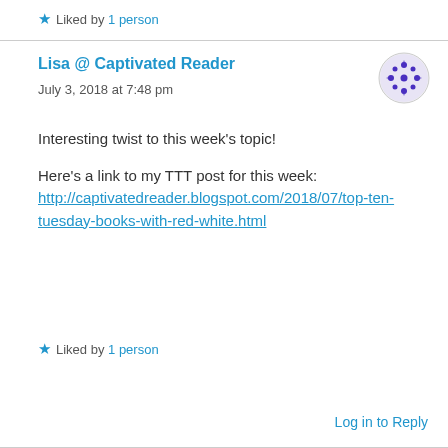★ Liked by 1 person
Lisa @ Captivated Reader
July 3, 2018 at 7:48 pm
[Figure (illustration): Purple circular avatar icon with geometric dot/triangle pattern]
Interesting twist to this week's topic!

Here's a link to my TTT post for this week:
http://captivatedreader.blogspot.com/2018/07/top-ten-tuesday-books-with-red-white.html
★ Liked by 1 person
Log in to Reply